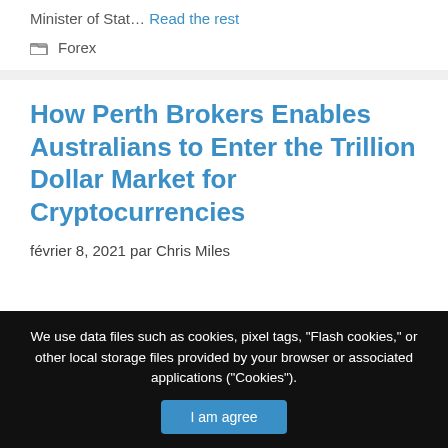Minister of Stat… Read the rest
Forex
How Perth Brokers Enables Australians to Enter the Trillion Dollar Market for Cryptocurrencies
février 8, 2021 par Chris Miles
We use data files such as cookies, pixel tags, "Flash cookies," or other local storage files provided by your browser or associated applications ("Cookies").
I am agree